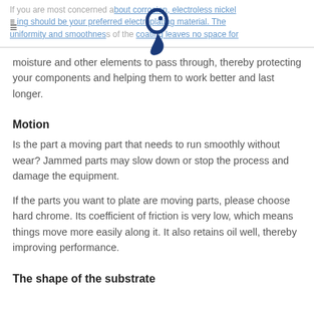If you are most concerned about corrosion, electroless nickel plating should be your preferred electroplating material. The uniformity and smoothness of the coating leaves no space for moisture and other elements to pass through, thereby protecting your components and helping them to work better and last longer.
Motion
Is the part a moving part that needs to run smoothly without wear? Jammed parts may slow down or stop the process and damage the equipment.
If the parts you want to plate are moving parts, please choose hard chrome. Its coefficient of friction is very low, which means things move more easily along it. It also retains oil well, thereby improving performance.
The shape of the substrate